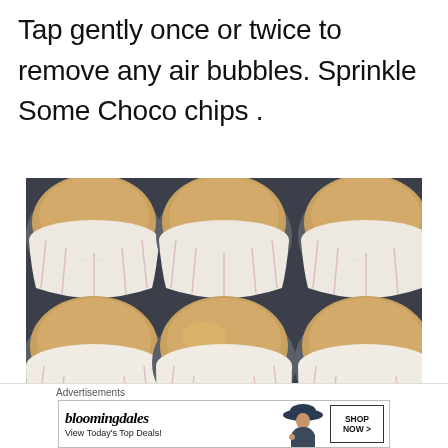Tap gently once or twice to remove any air bubbles. Sprinkle Some Choco chips .
[Figure (photo): Top-down view of cupcake batter in white paper liners inside a dark muffin tin, showing 6 cups filled with pale yellow batter.]
Advertisements
[Figure (other): Bloomingdale's advertisement banner with text 'View Today's Top Deals!' and a model wearing a wide-brim hat, with a 'SHOP NOW >' button.]